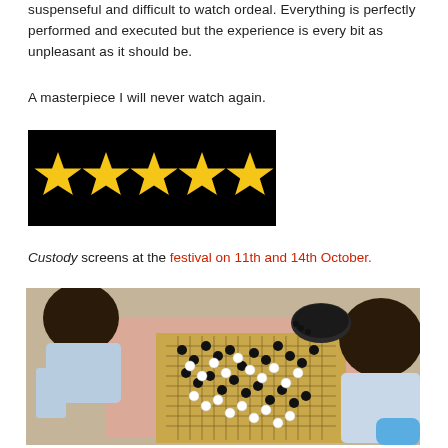suspenseful and difficult to watch ordeal. Everything is perfectly performed and executed but the experience is every bit as unpleasant as it should be.
A masterpiece I will never watch again.
[Figure (other): Five gold stars on a black background (5-star rating)]
Custody screens at the festival on 11th and 14th October.
[Figure (photo): Overhead photo of two children playing a game of Go (weiqi) at a table with black and white stones on a grid board]